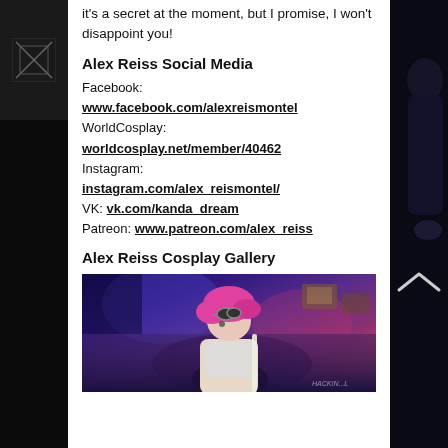it's a secret at the moment, but I promise, I won't disappoint you!
Alex Reiss Social Media
Facebook: www.facebook.com/alexreismontel WorldCosplay: worldcosplay.net/member/40462 Instagram: instagram.com/alex_reismontel/ VK: vk.com/kanda_dream Patreon: www.patreon.com/alex_reiss
Alex Reiss Cosplay Gallery
[Figure (photo): Cosplay photo of a person with pink hair wearing a costume with goggles, photographed in a colorful indoor setting with blue and purple lighting]